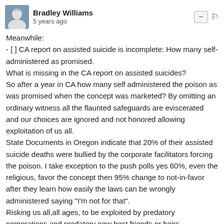Bradley Williams — 5 years ago
Meanwhile:
- [ ] CA report on assisted suicide is incomplete: How many self-administered as promised.
What is missing in the CA report on assisted suicides?
So after a year in CA how many self administered the poison as was promised when the concept was marketed? By omitting an ordinary witness all the flaunted safeguards are eviscerated and our choices are ignored and not honored allowing exploitation of us all.
State Documents in Oregon indicate that 20% of their assisted suicide deaths were bullied by the corporate facilitators forcing the poison. I take exception to the push polls yes 60%, even the religious, favor the concept then 95% change to not-in-favor after they learn how easily the laws can be wrongly administered saying "I'm not for that".
Risking us all,all ages, to be exploited by predatory corporations and predatory new best friends or heirs.
Read the language of the laws to decern the double speak, omissions and commissions.